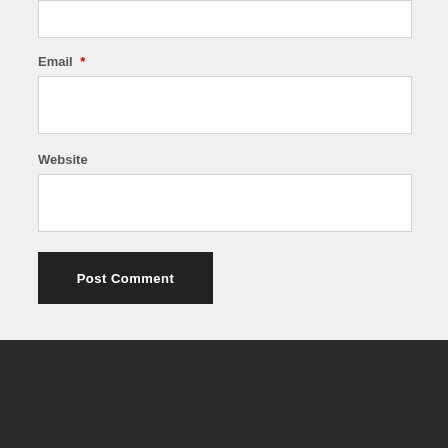Email *
Website
Post Comment
© 2022 FCCS ART. Theme by Anders Norén.
Spam prevention powered by Akismet.